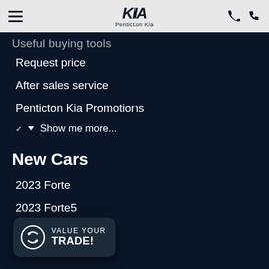Penticton Kia
Useful buying tools
Request price
After sales service
Penticton Kia Promotions
Show me more...
New Cars
2023 Forte
2023 Forte5
2023 K5
Show me more...
Hybrids and Electrics
2022 Niro EV
[Figure (infographic): VALUE YOUR TRADE! popup button with circular arrows icon]